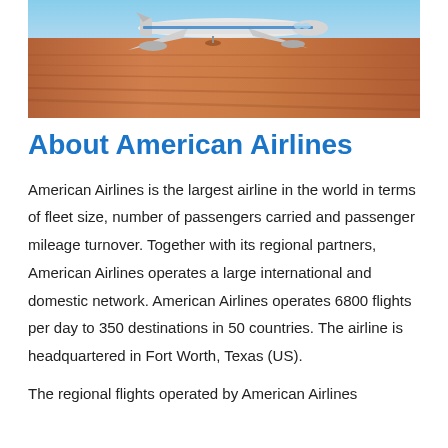[Figure (photo): Airplane on a runway or taxiway with warm orange/brown tarmac surface, motion blur on the ground suggesting speed, blue sky visible at top.]
About American Airlines
American Airlines is the largest airline in the world in terms of fleet size, number of passengers carried and passenger mileage turnover. Together with its regional partners, American Airlines operates a large international and domestic network. American Airlines operates 6800 flights per day to 350 destinations in 50 countries. The airline is headquartered in Fort Worth, Texas (US).
The regional flights operated by American Airlines